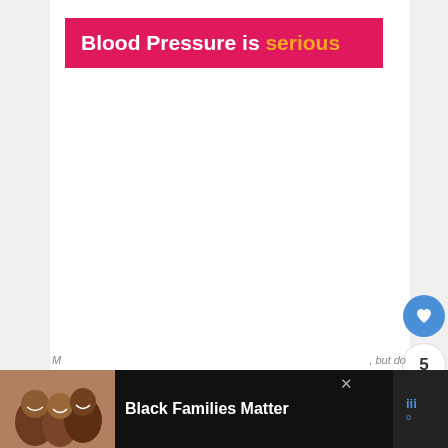Blood Pressure is serious
[Figure (infographic): Social interaction buttons: heart/like button (blue circle), count of 5, and share button (blue circle with share icon)]
[Figure (infographic): Advertisement banner at bottom: photo of smiling Black family, text 'Black Families Matter', close button X, and a logo on the right]